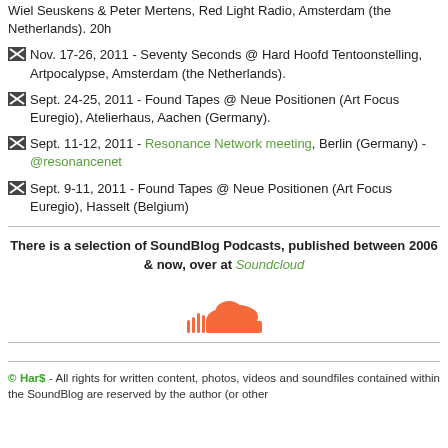Wiel Seuskens & Peter Mertens, Red Light Radio, Amsterdam (the Netherlands). 20h
Nov. 17-26, 2011 - Seventy Seconds @ Hard Hoofd Tentoonstelling, Artpocalypse, Amsterdam (the Netherlands).
Sept. 24-25, 2011 - Found Tapes @ Neue Positionen (Art Focus Euregio), Atelierhaus, Aachen (Germany).
Sept. 11-12, 2011 - Resonance Network meeting, Berlin (Germany) - @resonancenet
Sept. 9-11, 2011 - Found Tapes @ Neue Positionen (Art Focus Euregio), Hasselt (Belgium)
There is a selection of SoundBlog Podcasts, published between 2006 & now, over at Soundcloud
[Figure (logo): SoundCloud orange cloud logo]
© HarS - All rights for written content, photos, videos and soundfiles contained within the SoundBlog are reserved by the author (or other